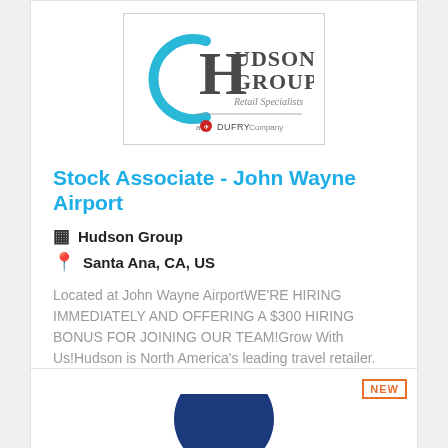[Figure (logo): Hudson Group Retail Specialists – a Dufry Company logo]
Stock Associate - John Wayne Airport
Hudson Group
Santa Ana, CA, US
Located at John Wayne AirportWE'RE HIRING IMMEDIATELY AND OFFERING A $300 HIRING BONUS FOR JOINING OUR TEAM!Grow With Us!Hudson is North America's leading travel retailer. For over 30 years, Hudson ha...
More Details
NEW